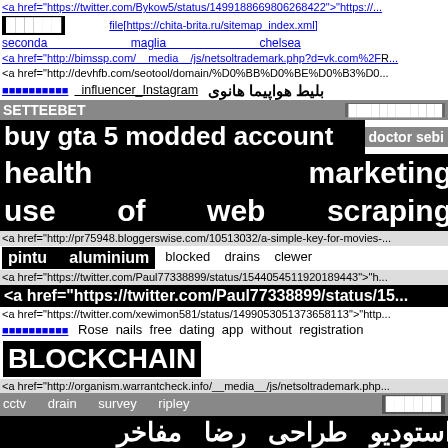<a href="https://twitter.com/Bykow5/status/149918866980626842 2">"https://...
[box] file[https://chita-brita.ru/sitemap_index.xml]
seconda   maglia   chelsea
<a href="http://bimssp.com/__media__/js/netsoltrademark.php?d=vk.com%2F...
<a href="http://devhfb.com/seotool/domain/%D0%BB%D0%BE%D0%B3%D0...
[chars]   influencer Instagram   بليط هواپيما هانوی
SETTEEBET   [chars]
buy gta 5 modded account   doctor sebi
health   marketing
use   of   web   scraping
<a href="http://pr75948.bloggerswise.com/10513032/a-simple-key-for-movies-...
pintu aluminium   blocked drains clewer
<a href="https://twitter.com/Paul77338899/status/1544054511920189443">h...
<a href="https://twitter.com/Paul77338899/status/15...
<a href="https://twitter.com/xewimon581/status/1499053051373658113">"htt...
[chars] Rose nails free dating app without registration
BLOCKCHAIN
<a href="http://organism.warrantcheck.info/__media__/js/netsoltrademark.php...
cctv drain survey ripley   [chars]
استوديو طراحى رضا مفاخر
Watten Estate   taskade video
Bar Card Baton Rouge order generic neurontin without rx